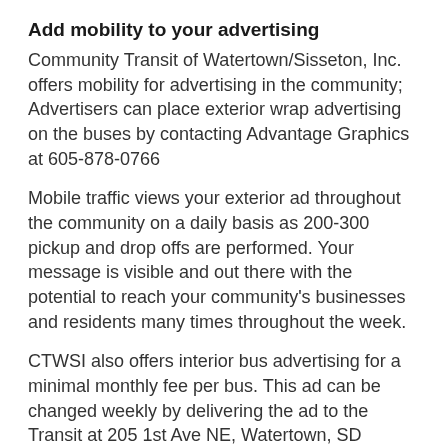Add mobility to your advertising
Community Transit of Watertown/Sisseton, Inc. offers mobility for advertising in the community; Advertisers can place exterior wrap advertising on the buses by contacting Advantage Graphics at 605-878-0766
Mobile traffic views your exterior ad throughout the community on a daily basis as 200-300 pickup and drop offs are performed. Your message is visible and out there with the potential to reach your community's businesses and residents many times throughout the week.
CTWSI also offers interior bus advertising for a minimal monthly fee per bus. This ad can be changed weekly by delivering the ad to the Transit at 205 1st Ave NE, Watertown, SD 57201. Your mobile media advertising inside the bus has the potential to be seen by many riders on a daily basis. You are at the forefront of the